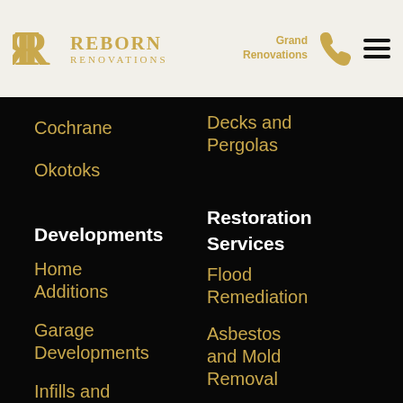Reborn Renovations
Cochrane
Okotoks
Decks and Pergolas
Developments
Home Additions
Garage Developments
Infills and Acreage Estates
Restoration Services
Flood Remediation
Asbestos and Mold Removal
Resources
Privacy Policy